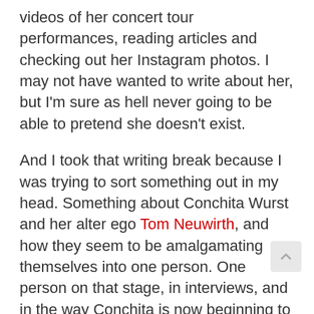videos of her concert tour performances, reading articles and checking out her Instagram photos. I may not have wanted to write about her, but I'm sure as hell never going to be able to pretend she doesn't exist.
And I took that writing break because I was trying to sort something out in my head. Something about Conchita Wurst and her alter ego Tom Neuwirth, and how they seem to be amalgamating themselves into one person. One person on that stage, in interviews, and in the way Conchita is now beginning to act and speak.
I saw that clearly during the first Vienna